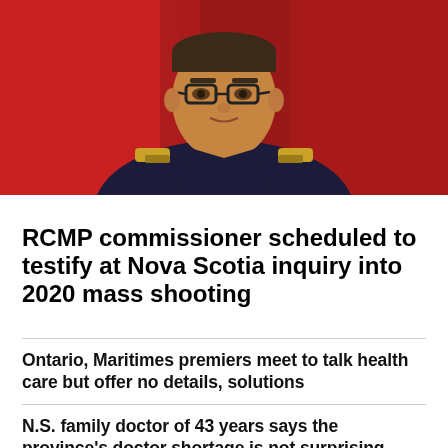[Figure (photo): RCMP commissioner in dark uniform with gold epaulettes, speaking, with red Canadian flags in the background.]
RCMP commissioner scheduled to testify at Nova Scotia inquiry into 2020 mass shooting
Ontario, Maritimes premiers meet to talk health care but offer no details, solutions
N.S. family doctor of 43 years says the province's doctor shortage is not surprising
Nova Scotia RCMP 'dysfunctions,' labour